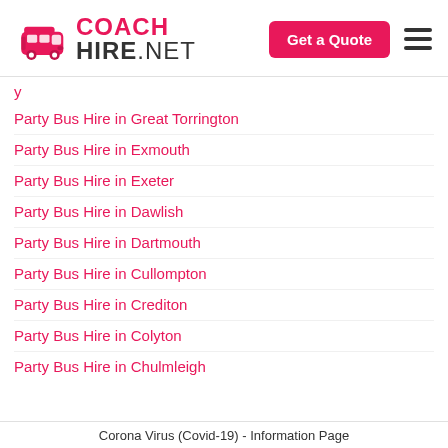[Figure (logo): CoachHire.NET logo with pink bus icon and text]
Party Bus Hire in Great Torrington
Party Bus Hire in Exmouth
Party Bus Hire in Exeter
Party Bus Hire in Dawlish
Party Bus Hire in Dartmouth
Party Bus Hire in Cullompton
Party Bus Hire in Crediton
Party Bus Hire in Colyton
Party Bus Hire in Chulmleigh
Corona Virus (Covid-19) - Information Page